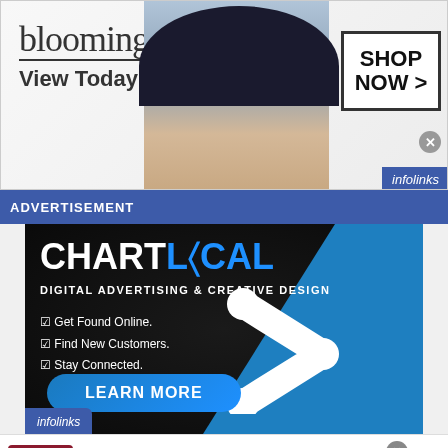[Figure (screenshot): Bloomingdale's advertisement banner showing 'View Today's Top Deals!' with a woman in a hat and 'SHOP NOW >' button]
ADVERTISEMENT
[Figure (screenshot): ChartLocal advertisement: Digital Advertising & Creative Design. Get Found Online. Find New Customers. Stay Connected. LEARN MORE button. Infolinks branded.]
[Figure (screenshot): NFL Shop ad: Free shipping on orders over $25, www.nflshop.com, SHOP NOW button]